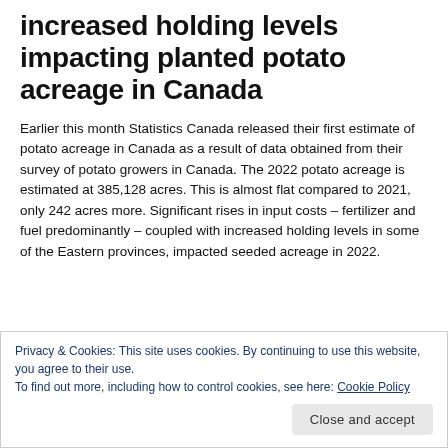increased holding levels impacting planted potato acreage in Canada
Earlier this month Statistics Canada released their first estimate of potato acreage in Canada as a result of data obtained from their survey of potato growers in Canada. The 2022 potato acreage is estimated at 385,128 acres. This is almost flat compared to 2021, only 242 acres more. Significant rises in input costs – fertilizer and fuel predominantly – coupled with increased holding levels in some of the Eastern provinces, impacted seeded acreage in 2022.
Privacy & Cookies: This site uses cookies. By continuing to use this website, you agree to their use.
To find out more, including how to control cookies, see here: Cookie Policy